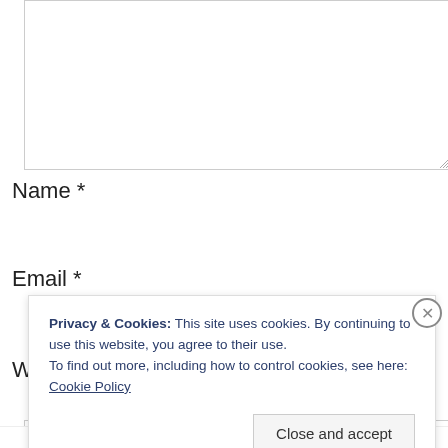[Figure (screenshot): Textarea input box (comment field), partially visible, with resize handle at bottom right]
Name *
[Figure (screenshot): Text input field for Name]
Email *
[Figure (screenshot): Text input field for Email, partially visible behind cookie banner]
W
Privacy & Cookies: This site uses cookies. By continuing to use this website, you agree to their use.
To find out more, including how to control cookies, see here: Cookie Policy
Close and accept